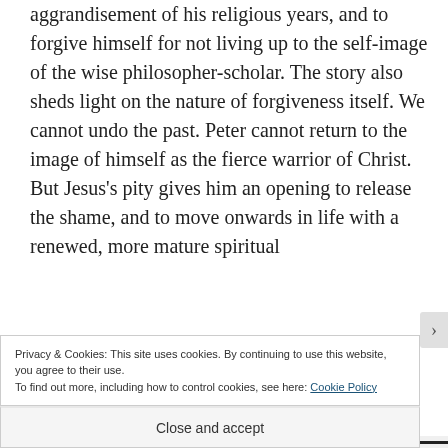aggrandisement of his religious years, and to forgive himself for not living up to the self-image of the wise philosopher-scholar. The story also sheds light on the nature of forgiveness itself. We cannot undo the past. Peter cannot return to the image of himself as the fierce warrior of Christ. But Jesus's pity gives him an opening to release the shame, and to move onwards in life with a renewed, more mature spiritual
Privacy & Cookies: This site uses cookies. By continuing to use this website, you agree to their use.
To find out more, including how to control cookies, see here: Cookie Policy
Close and accept